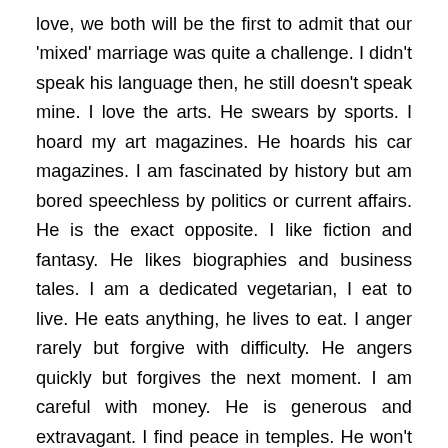love, we both will be the first to admit that our 'mixed' marriage was quite a challenge. I didn't speak his language then, he still doesn't speak mine. I love the arts. He swears by sports. I hoard my art magazines. He hoards his car magazines. I am fascinated by history but am bored speechless by politics or current affairs. He is the exact opposite. I like fiction and fantasy. He likes biographies and business tales. I am a dedicated vegetarian, I eat to live. He eats anything, he lives to eat. I anger rarely but forgive with difficulty. He angers quickly but forgives the next moment. I am careful with money. He is generous and extravagant. I find peace in temples. He won't step into them. If we have lasted 33 years, I don't give credit to love – instead I think of everything else which makes a marriage work, like respect and understanding, compassion and forgiveness, acceptance